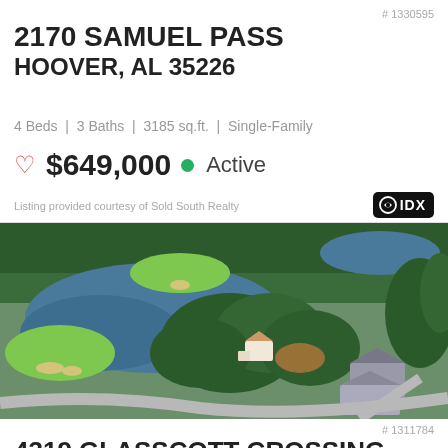# 1330595
2170 SAMUEL PASS
HOOVER, AL 35226
4 Beds | 3 Baths | 3185 sq.ft. | Single-Family
♡ $649,000 ● Active
Listing provided courtesy of Sold South Realty
[Figure (photo): Aerial drone photograph of a luxury single-family home surrounded by trees, a golf course with green fairways, and two ponds/lakes. A winding road is visible in the lower right. Adjacent large homes visible.]
# 1311784
4319 GLASSCOTT CROSSING